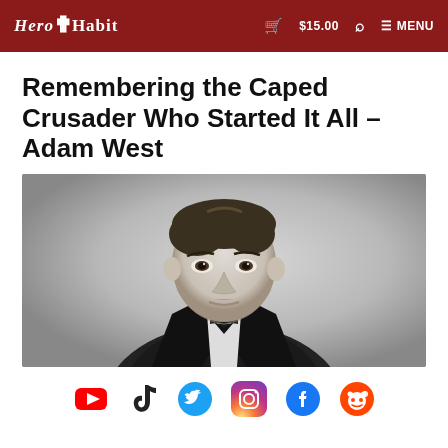HeroHabit  🛒 $15.00  🔍  ≡ MENU
Remembering the Caped Crusader Who Started It All – Adam West
[Figure (photo): Black and white photo of Adam West in a tuxedo with bow tie, looking directly at the camera]
[Figure (infographic): Social media icons row: YouTube (red), TikTok (black), Twitter (blue), Instagram (pink/purple), Facebook (blue), Reddit (orange)]